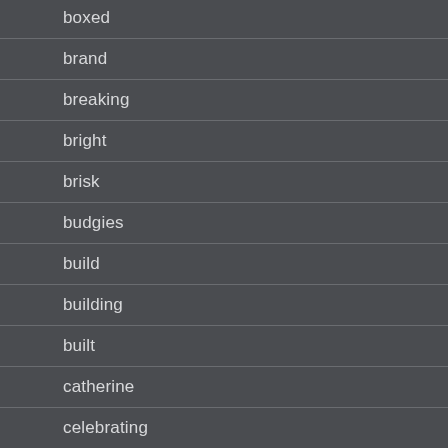boxed
brand
breaking
bright
brisk
budgies
build
building
built
catherine
celebrating
century